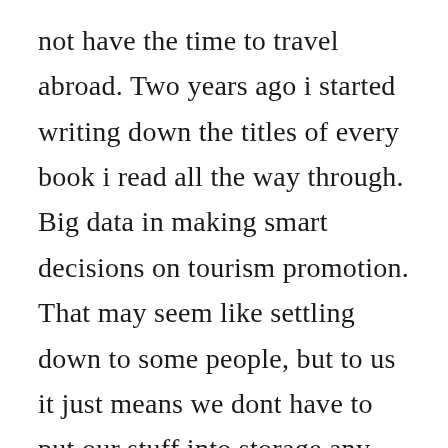not have the time to travel abroad. Two years ago i started writing down the titles of every book i read all the way through. Big data in making smart decisions on tourism promotion. That may seem like settling down to some people, but to us it just means we dont have to put our stuff into storage any time we want to travel long. One difference between a blog tour and online publicity in general is timing. The anointing picks up where the international bestseller good morning, holy spirit leaves off leading you to a vital, lifechanging experience with the